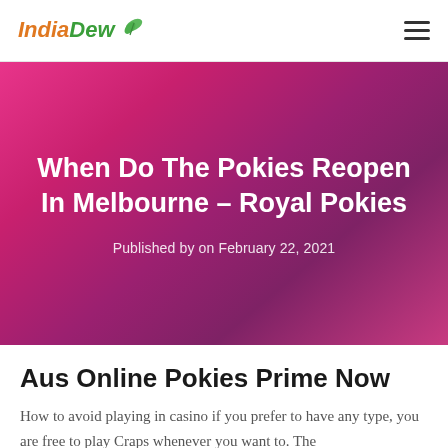IndiaDew
When Do The Pokies Reopen In Melbourne – Royal Pokies
Published by on February 22, 2021
Aus Online Pokies Prime Now
How to avoid playing in casino if you prefer to have any type, you are free to play Craps whenever you want to. The